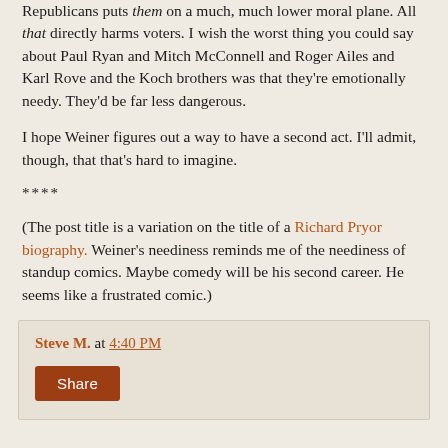Republicans puts them on a much, much lower moral plane. All that directly harms voters. I wish the worst thing you could say about Paul Ryan and Mitch McConnell and Roger Ailes and Karl Rove and the Koch brothers was that they're emotionally needy. They'd be far less dangerous.
I hope Weiner figures out a way to have a second act. I'll admit, though, that that's hard to imagine.
****
(The post title is a variation on the title of a Richard Pryor biography. Weiner's neediness reminds me of the neediness of standup comics. Maybe comedy will be his second career. He seems like a frustrated comic.)
Steve M. at 4:40 PM
Share